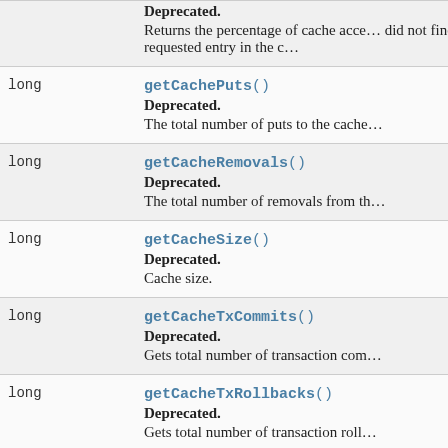| Type | Method and Description |
| --- | --- |
| long | Deprecated.
Returns the percentage of cache accesses did not find a requested entry in the c… |
| long | getCachePuts()
Deprecated.
The total number of puts to the cache… |
| long | getCacheRemovals()
Deprecated.
The total number of removals from th… |
| long | getCacheSize()
Deprecated.
Cache size. |
| long | getCacheTxCommits()
Deprecated.
Gets total number of transaction com… |
| long | getCacheTxRollbacks()
Deprecated.
Gets total number of transaction roll… |